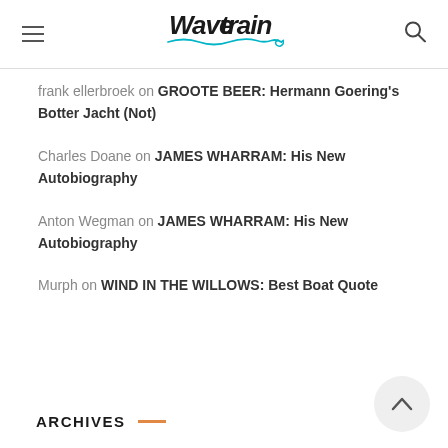WAVETRAIN logo header with hamburger menu and search icon
frank ellerbroek on GROOTE BEER: Hermann Goering's Botter Jacht (Not)
Charles Doane on JAMES WHARRAM: His New Autobiography
Anton Wegman on JAMES WHARRAM: His New Autobiography
Murph on WIND IN THE WILLOWS: Best Boat Quote
ARCHIVES